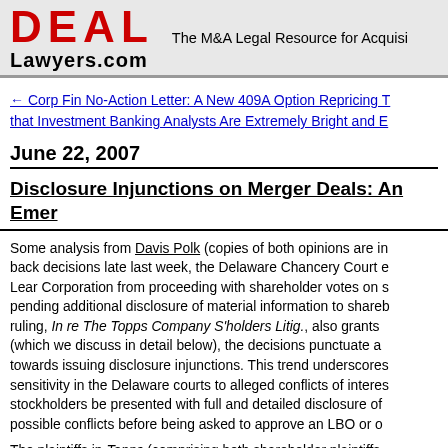DEAL Lawyers.com — The M&A Legal Resource for Acquisi...
← Corp Fin No-Action Letter: A New 409A Option Repricing T... that Investment Banking Analysts Are Extremely Bright and E...
June 22, 2007
Disclosure Injunctions on Merger Deals: An Emer...
Some analysis from Davis Polk (copies of both opinions are in... back decisions late last week, the Delaware Chancery Court e... Lear Corporation from proceeding with shareholder votes on s... pending additional disclosure of material information to sharel... ruling, In re The Topps Company S'holders Litig., also grants ... (which we discuss in detail below), the decisions punctuate a ... towards issuing disclosure injunctions. This trend underscores... sensitivity in the Delaware courts to alleged conflicts of interes... stockholders be presented with full and detailed disclosure of... possible conflicts before being asked to approve an LBO or o...
The plaintiffs in Topps (comprising both shareholder plaintiffs...